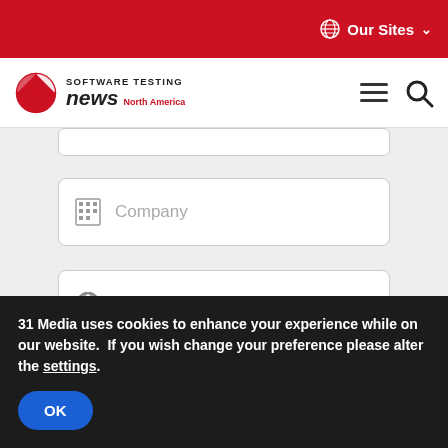Our Sites
[Figure (logo): Software Testing News North America logo with red and white globe icon]
[Figure (screenshot): Company input field with building icon and placeholder text 'Company']
[Figure (screenshot): Country input field with globe icon and placeholder text 'Country']
[Figure (screenshot): Grey SUBMIT button]
31 Media uses cookies to enhance your experience while on our website.  If you wish change your preference please alter the settings.
OK